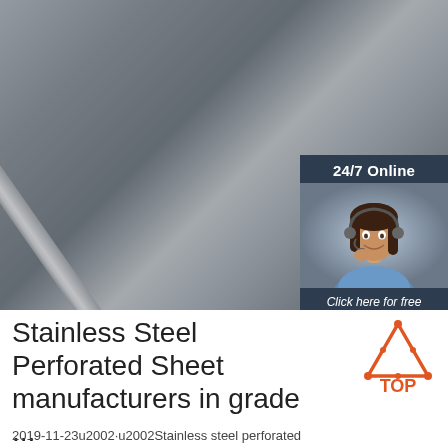[Figure (photo): Close-up photograph of stainless steel flat bars/strips arranged diagonally, showing metallic brushed surface texture. A 24/7 online chat widget is overlaid in the top-right corner featuring a customer service representative photo, 'Click here for free chat!' text, and an orange QUOTATION button.]
Stainless Steel Perforated Sheet manufacturers in grade ...
2019-11-23u2002·u2002Stainless steel perforated